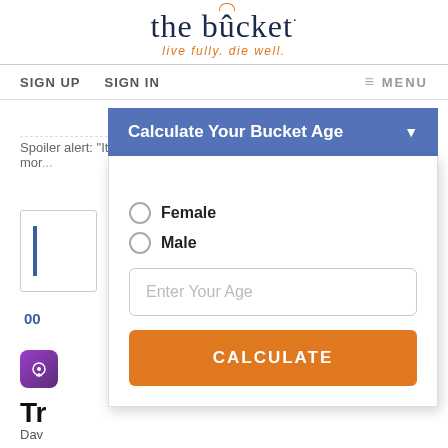[Figure (logo): The Bucket logo with orange arc above the 'u' in bucket and tagline 'live fully. die well.' in orange]
SIGN UP   SIGN IN   ≡ MENU
Spoiler alert: "It only comes once... life... and enjoy every mor...
Calculate Your Bucket Age
Female
Male
Enter Your Age
CALCULATE
Tr
Dav